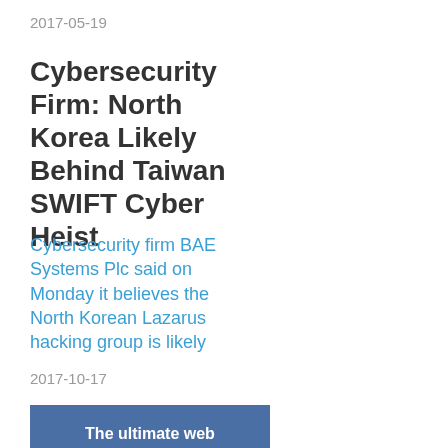2017-05-19
Cybersecurity Firm: North Korea Likely Behind Taiwan SWIFT Cyber Heist
Cybersecurity firm BAE Systems Plc said on Monday it believes the North Korean Lazarus hacking group is likely
2017-10-17
[Figure (other): Blue banner with text: The ultimate web hosting bundle]